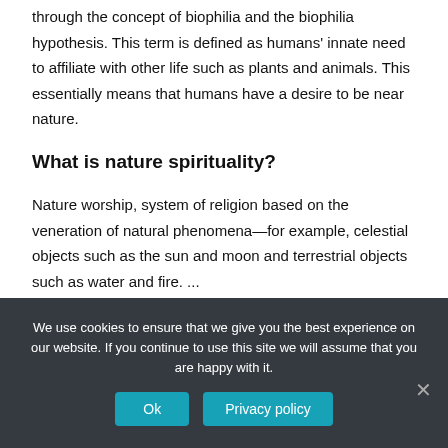through the concept of biophilia and the biophilia hypothesis. This term is defined as humans' innate need to affiliate with other life such as plants and animals. This essentially means that humans have a desire to be near nature.
What is nature spirituality?
Nature worship, system of religion based on the veneration of natural phenomena—for example, celestial objects such as the sun and moon and terrestrial objects such as water and fire. ...
We use cookies to ensure that we give you the best experience on our website. If you continue to use this site we will assume that you are happy with it.